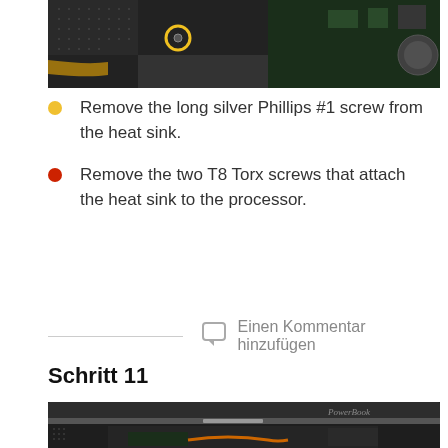[Figure (photo): Close-up photo of laptop internals showing circuit board components with a yellow-circled screw highlighted on the heat sink area]
Remove the long silver Phillips #1 screw from the heat sink.
Remove the two T8 Torx screws that attach the heat sink to the processor.
Einen Kommentar hinzufügen
Schritt 11
[Figure (photo): Photo of a PowerBook laptop partially disassembled showing the lid and internal components with 'PowerBook' text visible on the lid]